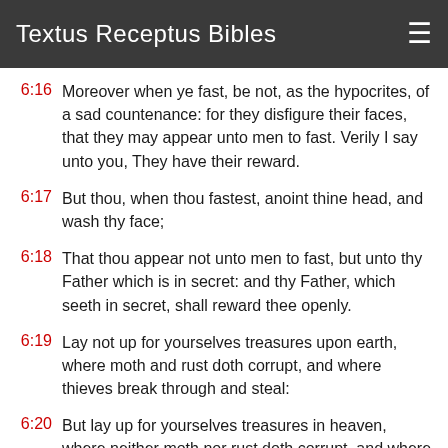Textus Receptus Bibles
6:16 Moreover when ye fast, be not, as the hypocrites, of a sad countenance: for they disfigure their faces, that they may appear unto men to fast. Verily I say unto you, They have their reward.
6:17 But thou, when thou fastest, anoint thine head, and wash thy face;
6:18 That thou appear not unto men to fast, but unto thy Father which is in secret: and thy Father, which seeth in secret, shall reward thee openly.
6:19 Lay not up for yourselves treasures upon earth, where moth and rust doth corrupt, and where thieves break through and steal:
6:20 But lay up for yourselves treasures in heaven, where neither moth nor rust doth corrupt, and where thieves do not break through nor steal: